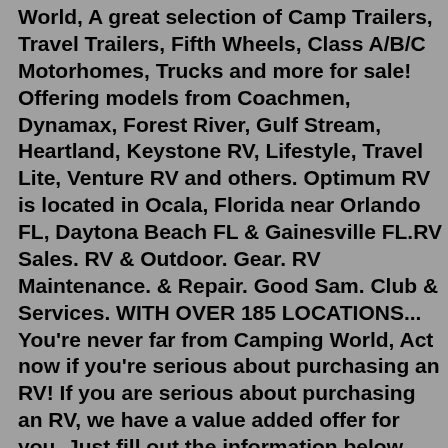World, A great selection of Camp Trailers, Travel Trailers, Fifth Wheels, Class A/B/C Motorhomes, Trucks and more for sale! Offering models from Coachmen, Dynamax, Forest River, Gulf Stream, Heartland, Keystone RV, Lifestyle, Travel Lite, Venture RV and others. Optimum RV is located in Ocala, Florida near Orlando FL, Daytona Beach FL & Gainesville FL.RV Sales. RV & Outdoor. Gear. RV Maintenance. & Repair. Good Sam. Club & Services. WITH OVER 185 LOCATIONS... You're never far from Camping World, Act now if you're serious about purchasing an RV! If you are serious about purchasing an RV, we have a value added offer for you. Just fill out the information below. Tell us what model you are interested in so we can set you up for a showing. * First Name: Last Name: Phone * Email: Subject: Category: Type: Year: Make:A-1 Self Storage - Waterbury, CT Outdoor storage available for Boats, RVs, Trucks, Cars, Etc. Free second month on all sizes. Extensive access hours from 6am-10pm/